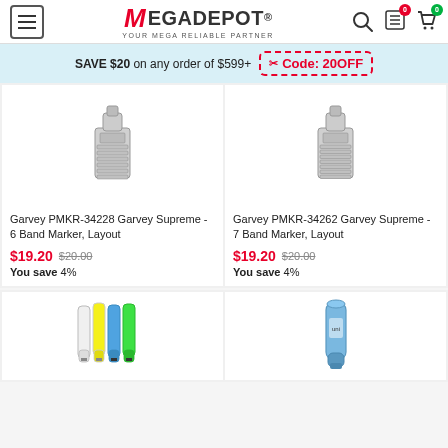MegaDepot - YOUR MEGA RELIABLE PARTNER
SAVE $20 on any order of $599+ Code: 20OFF
[Figure (photo): Garvey PMKR-34228 6 Band Marker product photo - metal numbering stamp device]
Garvey PMKR-34228 Garvey Supreme - 6 Band Marker, Layout
$19.20  $20.00  You save 4%
[Figure (photo): Garvey PMKR-34262 7 Band Marker product photo - metal numbering stamp device]
Garvey PMKR-34262 Garvey Supreme - 7 Band Marker, Layout
$19.20  $20.00  You save 4%
[Figure (photo): Colored highlighter markers - white, yellow, blue, green set of 4]
[Figure (photo): Blue marker pen]